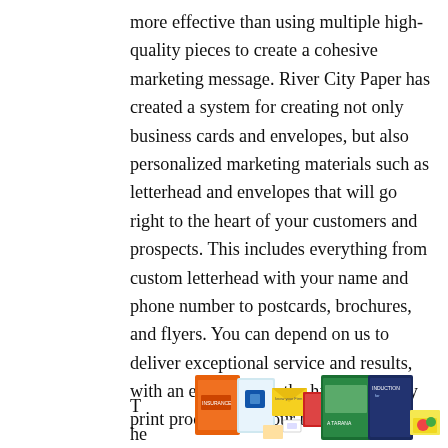more effective than using multiple high-quality pieces to create a cohesive marketing message. River City Paper has created a system for creating not only business cards and envelopes, but also personalized marketing materials such as letterhead and envelopes that will go right to the heart of your customers and prospects. This includes everything from custom letterhead with your name and phone number to postcards, brochures, and flyers. You can depend on us to deliver exceptional service and results, with an emphasis on the highest quality print products for your business.
The use of
[Figure (photo): A collage of various printed marketing materials including brochures, booklets, envelopes, postcards, business cards, and other print products in various colors (orange, green, blue, yellow, red).]